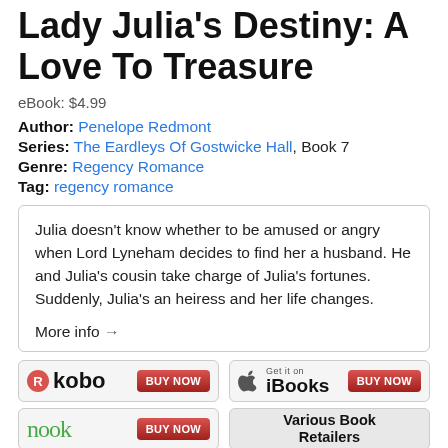Lady Julia's Destiny: A Love To Treasure
eBook: $4.99
Author: Penelope Redmont
Series: The Eardleys Of Gostwicke Hall, Book 7
Genre: Regency Romance
Tag: regency romance
Julia doesn't know whether to be amused or angry when Lord Lyneham decides to find her a husband. He and Julia's cousin take charge of Julia's fortunes. Suddenly, Julia's an heiress and her life changes.

More info →
[Figure (other): Kobo buy now button]
[Figure (other): iBooks buy now button]
[Figure (other): Nook buy now button]
[Figure (other): Various Book Retailers button]